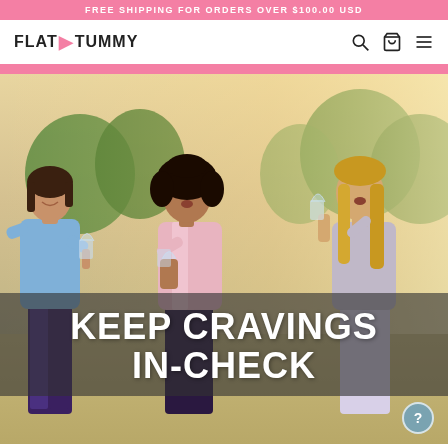FREE SHIPPING FOR ORDERS OVER $100.00 USD
FLAT▶TUMMY
[Figure (screenshot): Navigation bar with Flat Tummy logo on left, search icon, bag icon, and hamburger menu icon on the right]
[Figure (photo): Three women laughing and celebrating outdoors holding wine glasses, wearing casual athletic and casual outfits on a beach/outdoor setting]
KEEP CRAVINGS IN-CHECK